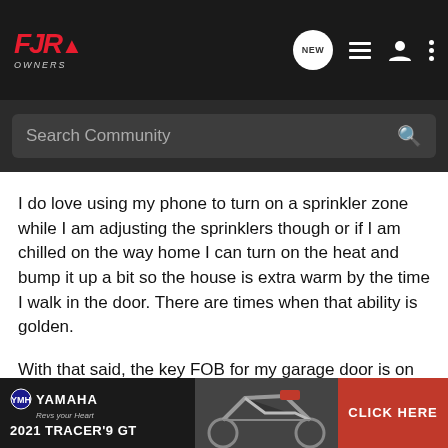FJR Owners — navigation bar with NEW, list, profile, and menu icons
Search Community
I do love using my phone to turn on a sprinkler zone while I am adjusting the sprinklers though or if I am chilled on the way home I can turn on the heat and bump it up a bit so the house is extra warm by the time I walk in the door. There are times when that ability is golden.
With that said, the key FOB for my garage door is on my bike key ring. I can't count how many times with the keys in my pocket I have ended up pushing the damn sensitive button on the remote accidentally. Then I gotta get them out, hit the button to stop it, hit the button again to put it back. Several times this winter below freezing I'm working on the bike, got the garage all heated u pushed and half e I can
[Figure (screenshot): Yamaha 2021 Tracer 9 GT advertisement banner with red Click Here button]